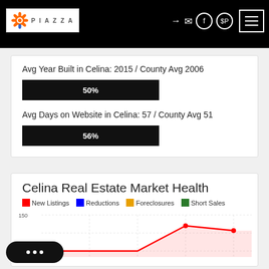[Figure (logo): Piazza Real Estate logo with orange sun/flower icon and PIAZZA text]
Avg Year Built in Celina: 2015 / County Avg 2006
[Figure (other): Horizontal progress bar showing 50%]
Avg Days on Website in Celina: 57 / County Avg 51
[Figure (other): Horizontal progress bar showing 56%]
Celina Real Estate Market Health
[Figure (line-chart): Line chart showing New Listings (red), Reductions (blue), Foreclosures (yellow/gold), Short Sales (green) over time. Y-axis shows 100 and 150 visible. Red line peaks around 125 then dips.]